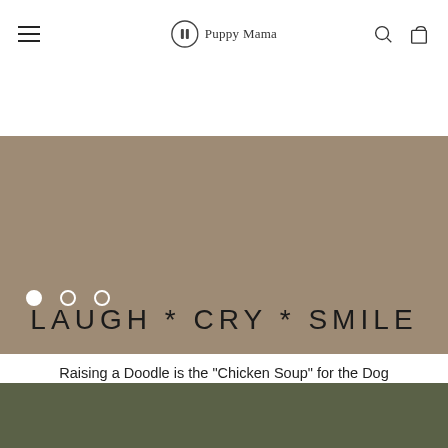Puppy Mama
[Figure (other): Taupe/beige color hero banner with carousel pagination dots (3 dots, first filled white, second and third outlined)]
LAUGH * CRY * SMILE
Raising a Doodle is the "Chicken Soup" for the Dog Mama's Soul!
[Figure (other): Olive green / dark sage section at the bottom of the page]